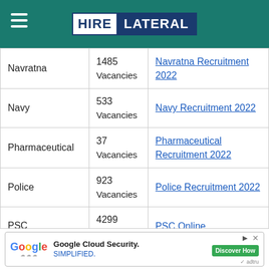[Figure (logo): HireLateral website header with teal background, hamburger menu icon on left, and HIRE LATERAL logo in center (HIRE in white box, LATERAL in dark blue box)]
| Category | Vacancies | Link |
| --- | --- | --- |
| Navratna | 1485 Vacancies | Navratna Recruitment 2022 |
| Navy | 533 Vacancies | Navy Recruitment 2022 |
| Pharmaceutical | 37 Vacancies | Pharmaceutical Recruitment 2022 |
| Police | 923 Vacancies | Police Recruitment 2022 |
| PSC | 4299 Vacancies | PSC Online |
| Railway (partial) | ... | Railway Recruitment (partial) |
[Figure (other): Google Cloud Security advertisement banner at the bottom of the page]